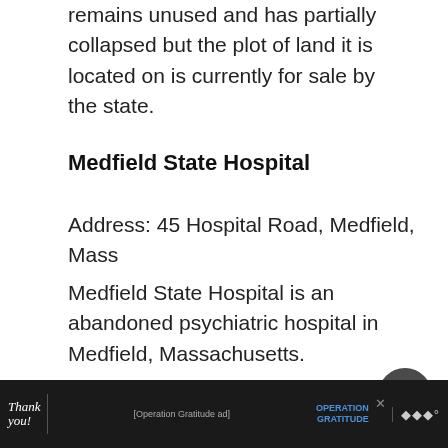remains unused and has partially collapsed but the plot of land it is located on is currently for sale by the state.
Medfield State Hospital
Address: 45 Hospital Road, Medfield, Mass
Medfield State Hospital is an abandoned psychiatric hospital in Medfield, Massachusetts.
[Figure (photo): Advertisement banner showing 'Thank you!' with Operation Gratitude branding and masked healthcare workers]
Thank you! Operation Gratitude advertisement bar at bottom of page